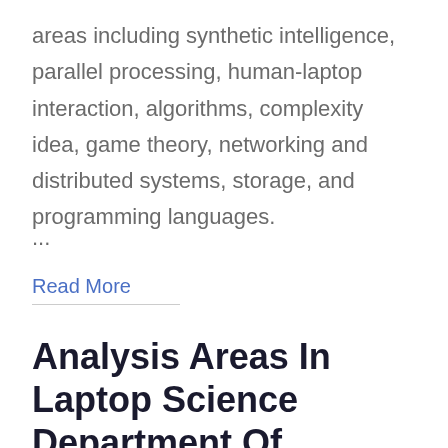areas including synthetic intelligence, parallel processing, human-laptop interaction, algorithms, complexity idea, game theory, networking and distributed systems, storage, and programming languages.
...
Read More
Analysis Areas In Laptop Science Department Of Computer Science